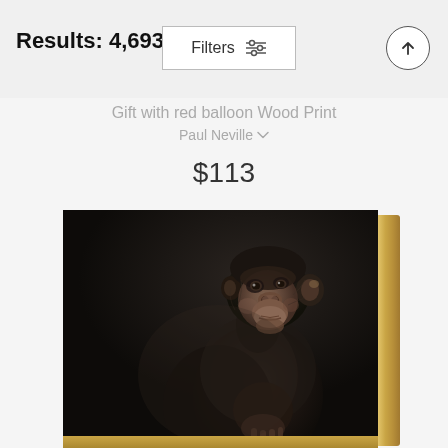Results: 4,693
Gift with red balloon Wood Print
Paul Neville
$113
[Figure (photo): A wood print art piece showing a chimpanzee with dark background, displayed as a mounted wood print with visible wood grain and tan/yellow wood edge on the right and bottom sides. The chimpanzee is shown from the side/front looking contemplative.]